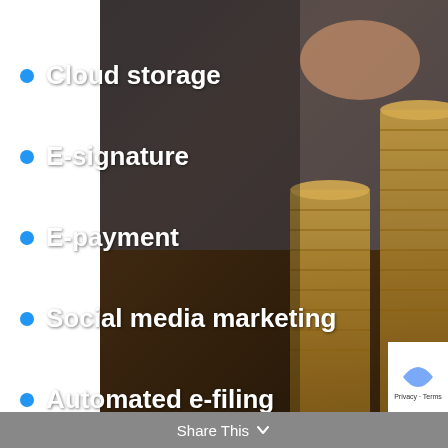[Figure (photo): Background photo of stacked coins on a table with a hand holding a pen, dark/brown tones]
Cloud storage
E-signature
E-payment
Social media marketing
Automated e-filing
E-help desk support
uOne
Share This